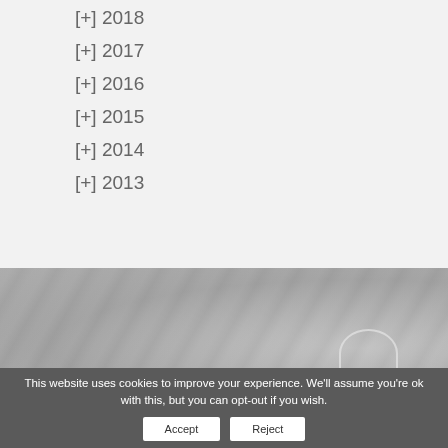[+] 2018
[+] 2017
[+] 2016
[+] 2015
[+] 2014
[+] 2013
[Figure (photo): Decorative grey textured background image with a partial circular arc visible at bottom right]
This website uses cookies to improve your experience. We'll assume you're ok with this, but you can opt-out if you wish. Accept Reject